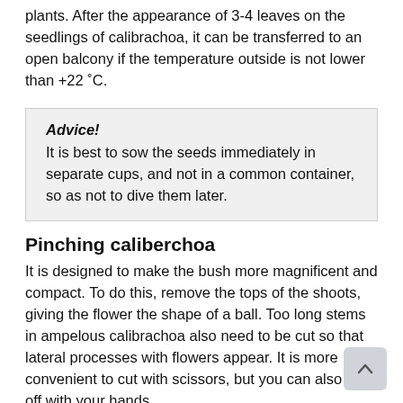plants. After the appearance of 3-4 leaves on the seedlings of calibrachoa, it can be transferred to an open balcony if the temperature outside is not lower than +22 °C.
Advice! It is best to sow the seeds immediately in separate cups, and not in a common container, so as not to dive them later.
Pinching caliberchoa
It is designed to make the bush more magnificent and compact. To do this, remove the tops of the shoots, giving the flower the shape of a ball. Too long stems in ampelous calibrachoa also need to be cut so that lateral processes with flowers appear. It is more convenient to cut with scissors, but you can also cut it off with your hands.
How to plant caliberchoa
The flower is grown mainly in pots. The plant will live in them all its life, so care must be taken that the volume of the